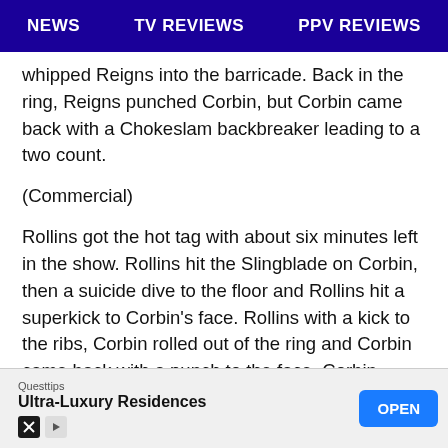NEWS   TV REVIEWS   PPV REVIEWS
whipped Reigns into the barricade. Back in the ring, Reigns punched Corbin, but Corbin came back with a Chokeslam backbreaker leading to a two count.
(Commercial)
Rollins got the hot tag with about six minutes left in the show. Rollins hit the Slingblade on Corbin, then a suicide dive to the floor and Rollins hit a superkick to Corbin’s face. Rollins with a kick to the ribs, Corbin rolled out of the ring and Corbin came back with a punch to the face. Corbin picked up Rollins with a spinning slam for two. Rollins fought off a superplex attempt that was never going to happen and Rollins hit a Blockbuster off the turnbuckle. Styles got the hot(ter... Lashle... hits
[Figure (other): Advertisement banner for Ultra-Luxury Residences by Questtips with an OPEN button]